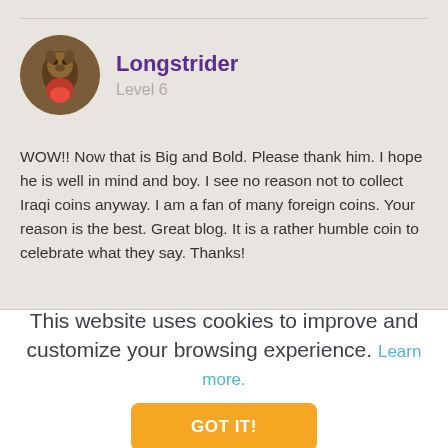[Figure (photo): Circular avatar photo of a user, appears to show an animal or person in a brownish-toned image]
Longstrider
Level 6
WOW!! Now that is Big and Bold. Please thank him. I hope he is well in mind and boy. I see no reason not to collect Iraqi coins anyway. I am a fan of many foreign coins. Your reason is the best. Great blog. It is a rather humble coin to celebrate what they say. Thanks!
This website uses cookies to improve and customize your browsing experience. Learn more.
GOT IT!